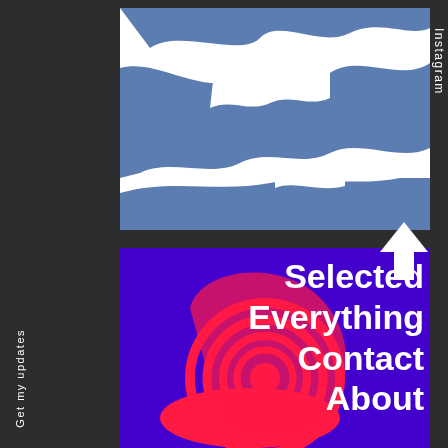[Figure (illustration): White box with blue abstract river/landscape silhouette shape]
Instagram
[Figure (illustration): Purple box with red spiral snail/swirl illustration and white navigation menu text: Selected, Everything, Contact, About]
Get my updates
Selected
Everything
Contact
About